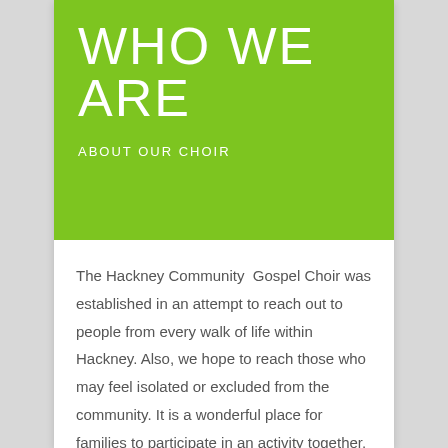WHO WE ARE
ABOUT OUR CHOIR
The Hackney Community  Gospel Choir was established in an attempt to reach out to people from every walk of life within Hackney. Also, we hope to reach those who may feel isolated or excluded from the community. It is a wonderful place for families to participate in an activity together. It helps to relieve stress and